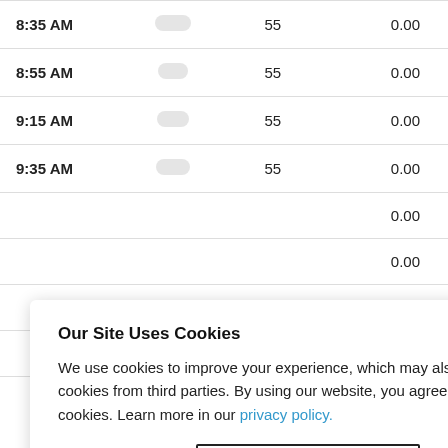| Time | Icon | Value1 | Value2 |
| --- | --- | --- | --- |
| 8:35 AM |  | 55 | 0.00 |
| 8:55 AM |  | 55 | 0.00 |
| 9:15 AM |  | 55 | 0.00 |
| 9:35 AM |  | 55 | 0.00 |
|  |  |  | 0.00 |
|  |  |  | 0.00 |
|  |  |  | 0.00 |
|  |  |  | 0.00 |
Our Site Uses Cookies
We use cookies to improve your experience, which may also include cookies from third parties. By using our website, you agree to the use of cookies. Learn more in our privacy policy.
ACCEPT & CLOSE